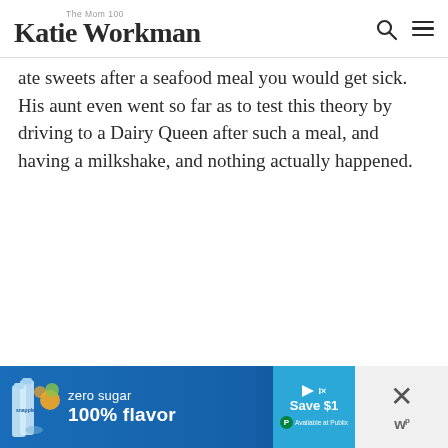The Mom 100 Katie Workman
ate sweets after a seafood meal you would get sick. His aunt even went so far as to test this theory by driving to a Dairy Queen after such a meal, and having a milkshake, and nothing actually happened.
[Figure (other): Advertisement banner for Snapple zero sugar 100% flavor, with a Save $1 button and Available at Publix note]